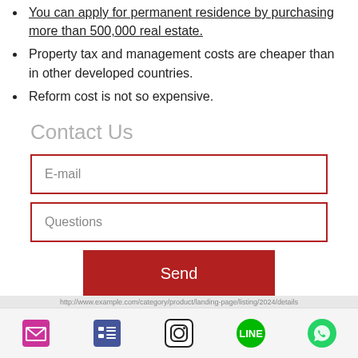You can apply for permanent residence by purchasing more than 500,000 real estate.
Property tax and management costs are cheaper than in other developed countries.
Reform cost is not so expensive.
Contact Us
[Figure (other): Contact form with E-mail input field, Questions input field, and a red Send button]
[Figure (other): Footer bar with social media icons: email, list/menu, Instagram, LINE, WhatsApp]